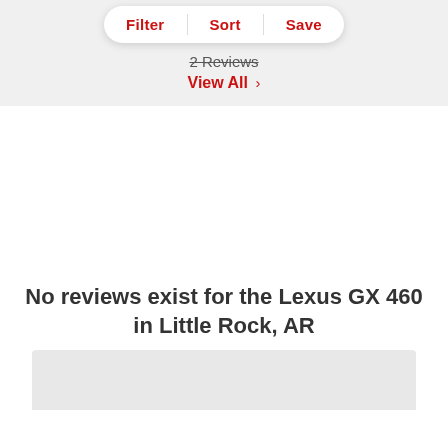[Figure (screenshot): Filter, Sort, Save button bar with rounded pill shape, white background, red text]
2 Reviews
View All ›
No reviews exist for the Lexus GX 460 in Little Rock, AR